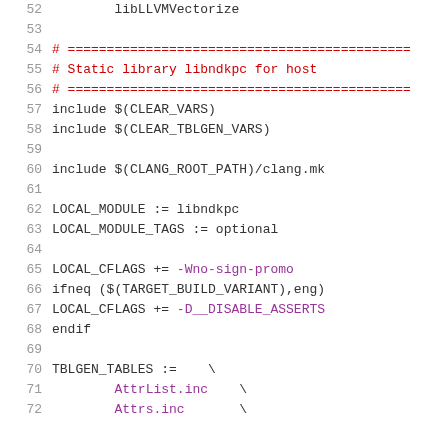52    libLLVMVectorize
53
54    # ===========================================
55    # Static library libndkpc for host
56    # ===========================================
57    include $(CLEAR_VARS)
58    include $(CLEAR_TBLGEN_VARS)
59
60    include $(CLANG_ROOT_PATH)/clang.mk
61
62    LOCAL_MODULE := libndkpc
63    LOCAL_MODULE_TAGS := optional
64
65    LOCAL_CFLAGS += -Wno-sign-promo
66    ifneq ($(TARGET_BUILD_VARIANT),eng)
67    LOCAL_CFLAGS += -D__DISABLE_ASSERTS
68    endif
69
70    TBLGEN_TABLES :=    \
71        AttrList.inc    \
72        Attrs.inc       \